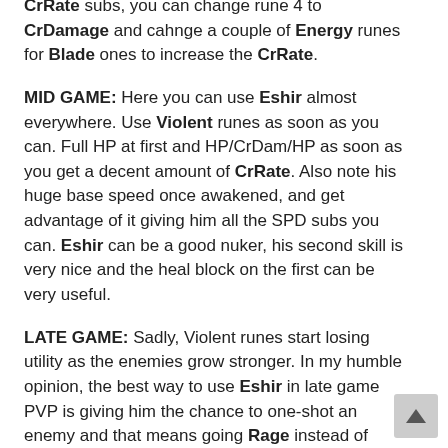CrRate subs, you can change rune 4 to CrDamage and cahnge a couple of Energy runes for Blade ones to increase the CrRate.
MID GAME: Here you can use Eshir almost everywhere. Use Violent runes as soon as you can. Full HP at first and HP/CrDam/HP as soon as you get a decent amount of CrRate. Also note his huge base speed once awakened, and get advantage of it giving him all the SPD subs you can. Eshir can be a good nuker, his second skill is very nice and the heal block on the first can be very useful.
LATE GAME: Sadly, Violent runes start losing utility as the enemies grow stronger. In my humble opinion, the best way to use Eshir in late game PVP is giving him the chance to one-shot an enemy and that means going Rage instead of